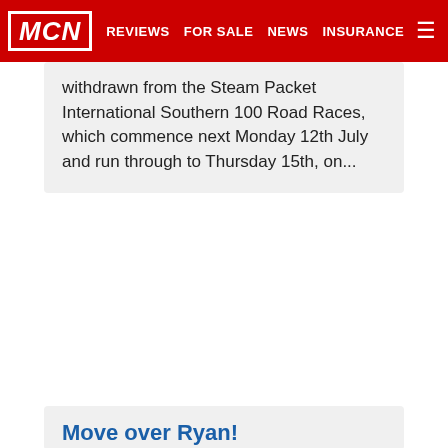MCN | REVIEWS | FOR SALE | NEWS | INSURANCE
withdrawn from the Steam Packet International Southern 100 Road Races, which commence next Monday 12th July and run through to Thursday 15th, on...
Move over Ryan!